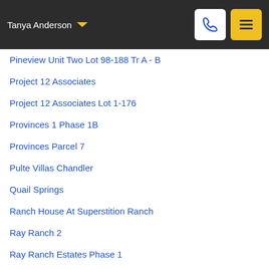Tanya Anderson
Pineview Unit Two Lot 98-188 Tr A - B
Project 12 Associates
Project 12 Associates Lot 1-176
Provinces 1 Phase 1B
Provinces Parcel 7
Pulte Villas Chandler
Quail Springs
Ranch House At Superstition Ranch
Ray Ranch 2
Ray Ranch Estates Phase 1
Redwood Estates
Reserve At Fulton Ranch
Residences At Belmonte
Rhythm
Rialto Hills Lot 3-94 Tr B
Rialto Hills Two Lot 95-193 Tr A-D
Riggs Country Estates
Riggs Ranch Meadows
Rio Del Verde